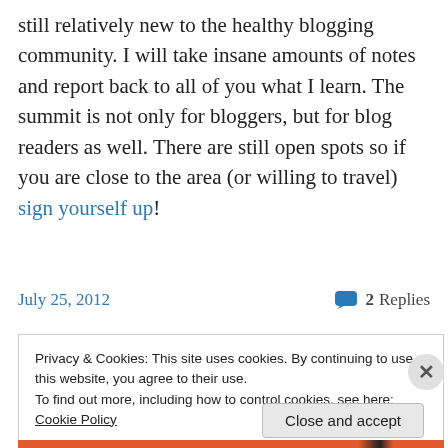still relatively new to the healthy blogging community. I will take insane amounts of notes and report back to all of you what I learn. The summit is not only for bloggers, but for blog readers as well. There are still open spots so if you are close to the area (or willing to travel) sign yourself up!
July 25, 2012    2 Replies
Privacy & Cookies: This site uses cookies. By continuing to use this website, you agree to their use. To find out more, including how to control cookies, see here: Cookie Policy